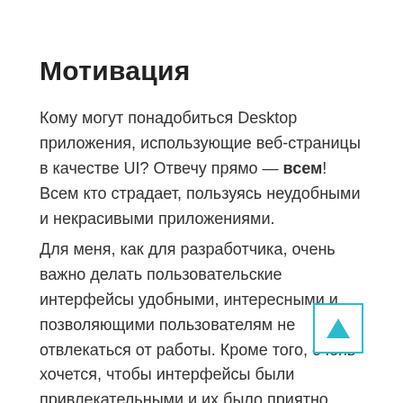Мотивация
Кому могут понадобиться Desktop приложения, использующие веб-страницы в качестве UI? Отвечу прямо — всем! Всем кто страдает, пользуясь неудобными и некрасивыми приложениями.
Для меня, как для разработчика, очень важно делать пользовательские интерфейсы удобными, интересными и позволяющими пользователям не отвлекаться от работы. Кроме того, очень хочется, чтобы интерфейсы были привлекательными и их было приятно показывать. Все эти соображения приводят нас к неутешительному выводу: существующие UI
[Figure (other): Scroll-to-top button with teal border and teal upward triangle arrow]